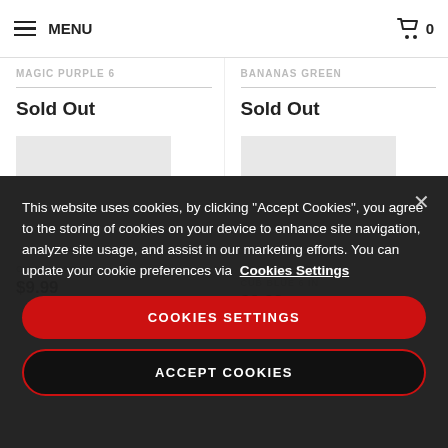MENU  [cart] 0
MAGIC PURPLE  6
BANANAS  GREEN
Sold Out
Sold Out
[Figure (screenshot): Two product image placeholders (grey rectangles)]
OINKS  PINK  6 IN
DROPS JONNY B
CUB  BLUE  6 IN
$9.99
$9.99
This website uses cookies, by clicking “Accept Cookies”, you agree to the storing of cookies on your device to enhance site navigation, analyze site usage, and assist in our marketing efforts. You can update your cookie preferences via  Cookies Settings
COOKIES SETTINGS
ACCEPT COOKIES